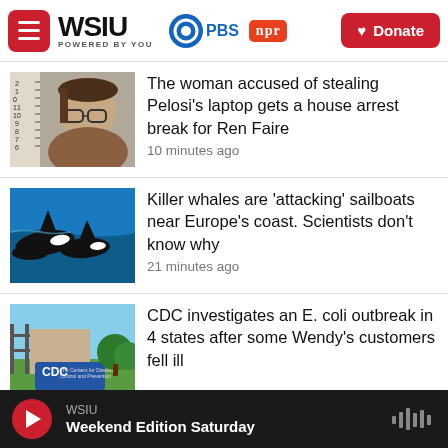[Figure (screenshot): WSIU website header with menu button, WSIU logo, PBS and NPR badges, and red Donate button]
[Figure (photo): Mugshot-style photo of a young woman with glasses against a height measurement background]
The woman accused of stealing Pelosi's laptop gets a house arrest break for Ren Faire
10 minutes ago
[Figure (photo): Photo of killer whales swimming near the ocean surface]
Killer whales are 'attacking' sailboats near Europe's coast. Scientists don't know why
21 minutes ago
[Figure (photo): CDC building exterior with blue sign reading 'CDC The Centers for Disease Control and Prevention']
CDC investigates an E. coli outbreak in 4 states after some Wendy's customers fell ill
WSIU Weekend Edition Saturday